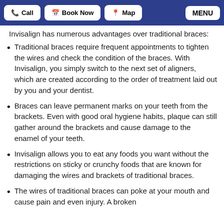Call | Book Now | Map | MENU
Invisalign has numerous advantages over traditional braces:
Traditional braces require frequent appointments to tighten the wires and check the condition of the braces. With Invisalign, you simply switch to the next set of aligners, which are created according to the order of treatment laid out by you and your dentist.
Braces can leave permanent marks on your teeth from the brackets. Even with good oral hygiene habits, plaque can still gather around the brackets and cause damage to the enamel of your teeth.
Invisalign allows you to eat any foods you want without the restrictions on sticky or crunchy foods that are known for damaging the wires and brackets of traditional braces.
The wires of traditional braces can poke at your mouth and cause pain and even injury. A broken